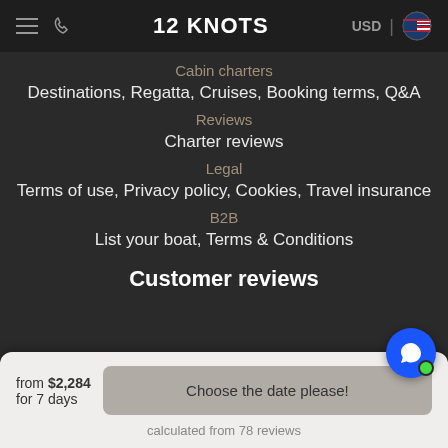12 KNOTS  USD  🇺🇸
Cabin charters
Destinations,  Regatta,  Cruises,  Booking terms, Q&A
Reviews
Charter reviews
Legal
Terms of use,  Privacy policy,  Cookies,  Travel insurance
B2B
List your boat,  Terms & Conditions
Customer reviews
from $2,284
for 7 days
Choose the date please!
calculated from 78 reviews